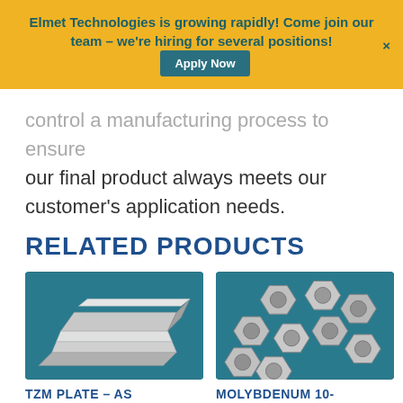Elmet Technologies is growing rapidly! Come join our team – we're hiring for several positions! Apply Now ×
...control a manufacturing process to ensure our final product always meets our customer's application needs.
RELATED PRODUCTS
[Figure (photo): Stack of flat metallic plates (TZM plate) on a blue background]
[Figure (photo): Close-up pile of metallic hex nuts (Molybdenum) on a blue background]
TZM PLATE – AS
MOLYBDENUM 10-